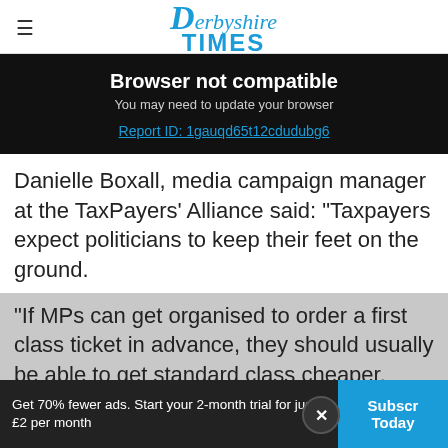Derbyshire Times
Browser not compatible
You may need to update your browser
Report ID: 1gauqd65t12cdudubg6
Danielle Boxall, media campaign manager at the TaxPayers' Alliance said: "Taxpayers expect politicians to keep their feet on the ground.
"If MPs can get organised to order a first class ticket in advance, they should usually be able to get standard class cheaper.
Get 70% fewer ads. Start your 2-month trial for just £2 per month   Subscribe Today